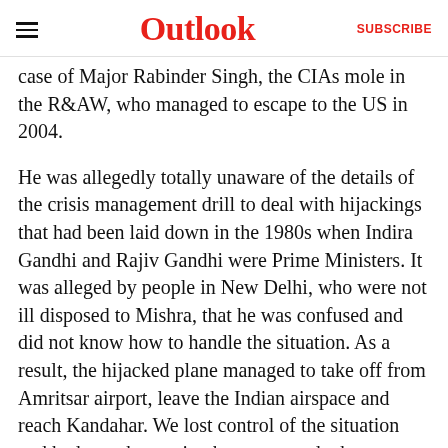Outlook | SUBSCRIBE
case of Major Rabinder Singh, the CIAs mole in the R&AW, who managed to escape to the US in 2004.
He was allegedly totally unaware of the details of the crisis management drill to deal with hijackings that had been laid down in the 1980s when Indira Gandhi and Rajiv Gandhi were Prime Ministers. It was alleged by people in New Delhi, who were not ill disposed to Mishra, that he was confused and did not know how to handle the situation. As a result, the hijacked plane managed to take off from Amritsar airport, leave the Indian airspace and reach Kandahar. We lost control of the situation and had no other option but to concede the demands of the hijackers.